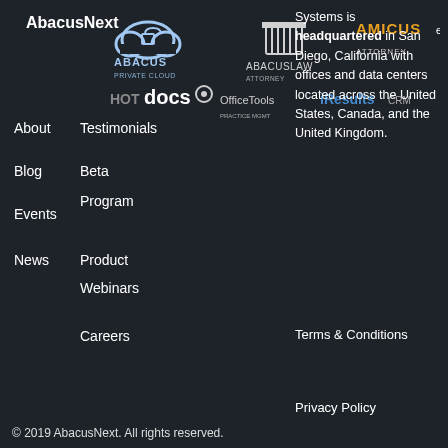AbacusNext
[Figure (logo): AbacusNext product logos: Abacus Private Cloud, AbacusLaw, Amicus Attorney, HotDocs, OfficeTools, iResults CRM]
About
Blog
Events
News
Testimonials
Beta Program
Product Webinars
Careers
Systems is headquartered in San Diego, California with offices and data centers located across the United States, Canada, and the United Kingdom.
Terms & Conditions
Privacy Policy
© 2019 AbacusNext. All rights reserved.